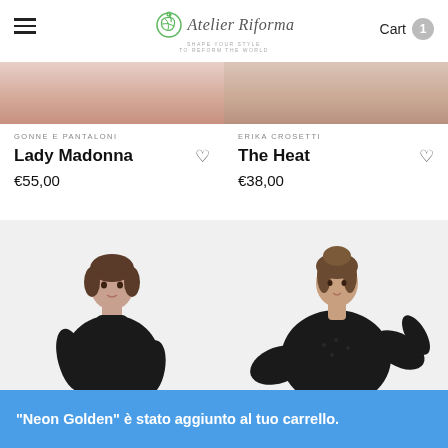Atelier Riforma — SHAPE YOUR STYLE TO REFORM THE WORLD — Cart 1
GONNE E PANTALONI
Lady Madonna
€55,00
ERIKA CROSETTI
The Heat
€38,00
[Figure (photo): Woman wearing black turtleneck top, left product photo]
[Figure (photo): Woman wearing black lace/knit top with wide sleeves, right product photo]
"Neon Golden" è stato aggiunto al tuo carrello.